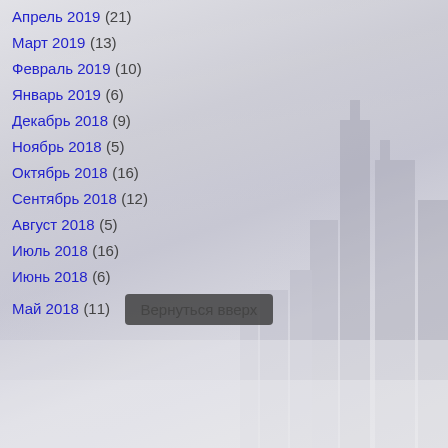Апрель 2019 (21)
Март 2019 (13)
Февраль 2019 (10)
Январь 2019 (6)
Декабрь 2018 (9)
Ноябрь 2018 (5)
Октябрь 2018 (16)
Сентябрь 2018 (12)
Август 2018 (5)
Июль 2018 (16)
Июнь 2018 (6)
Май 2018 (11)
Вернуться вверх